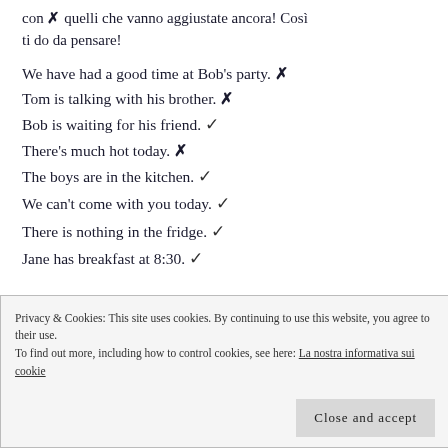con ✗ quelli che vanno aggiustate ancora! Così ti do da pensare!
We have had a good time at Bob's party. ✗
Tom is talking with his brother. ✗
Bob is waiting for his friend. ✓
There's much hot today. ✗
The boys are in the kitchen. ✓
We can't come with you today. ✓
There is nothing in the fridge. ✓
Jane has breakfast at 8:30. ✓
Privacy & Cookies: This site uses cookies. By continuing to use this website, you agree to their use.
To find out more, including how to control cookies, see here: La nostra informativa sui cookie